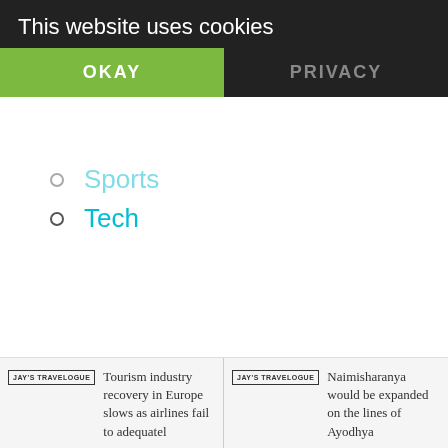This website uses cookies
OKAY
PRIVACY
Sports
Tech
[Figure (logo): Powered by badge with flame logo icon]
[Figure (logo): Travel Blog Directory link with broken image icon]
Tourism industry recovery in Europe slows as airlines fail to adequately
Naimisharanya would be expanded on the lines of Ayodhya